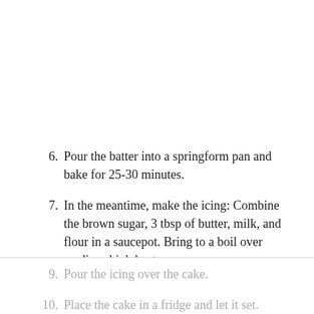6. Pour the batter into a springform pan and bake for 25-30 minutes.
7. In the meantime, make the icing: Combine the brown sugar, 3 tbsp of butter, milk, and flour in a saucepot. Bring to a boil over medium-high heat.
8. Cook, stirring for 2 minutes. Remove from heat and stir in the remaining butter and vanilla.
9. Pour the icing over the cake.
10. Place the cake in a fridge and let it set.